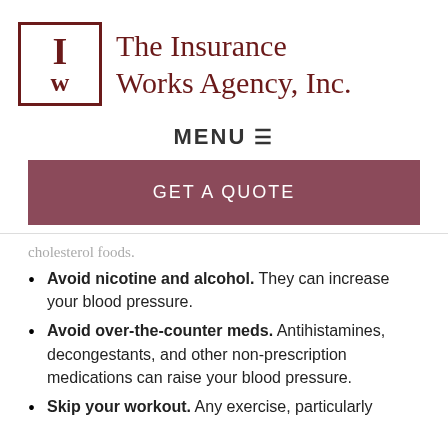[Figure (logo): The Insurance Works Agency, Inc. logo with stylized Iw in a red bordered box and company name in dark red serif font]
MENU ≡
GET A QUOTE
cholesterol foods.
Avoid nicotine and alcohol. They can increase your blood pressure.
Avoid over-the-counter meds. Antihistamines, decongestants, and other non-prescription medications can raise your blood pressure.
Skip your workout. Any exercise, particularly